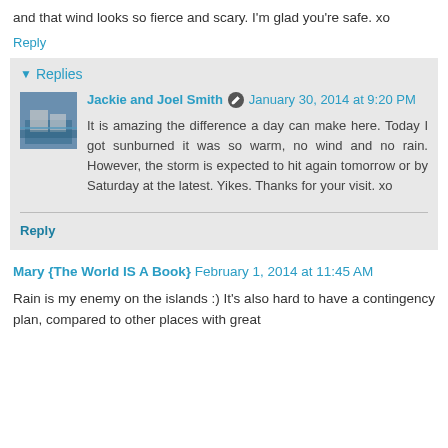and that wind looks so fierce and scary. I'm glad you're safe. xo
Reply
Replies
Jackie and Joel Smith  January 30, 2014 at 9:20 PM
It is amazing the difference a day can make here. Today I got sunburned it was so warm, no wind and no rain. However, the storm is expected to hit again tomorrow or by Saturday at the latest. Yikes. Thanks for your visit. xo
Reply
Mary {The World IS A Book}  February 1, 2014 at 11:45 AM
Rain is my enemy on the islands :) It's also hard to have a contingency plan, compared to other places with great